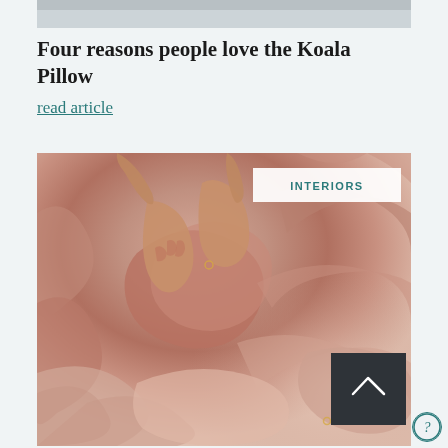[Figure (photo): Cropped top portion of a photo showing bed linens or pillows, light grey/blue tones at the very top of the page]
Four reasons people love the Koala Pillow
read article
[Figure (photo): Close-up photo of a person's hands pressing into soft pink/blush crumpled linen bedding. An 'INTERIORS' badge is in the top-right corner of the image. A dark scroll-to-top arrow button is in the bottom-right area of the image.]